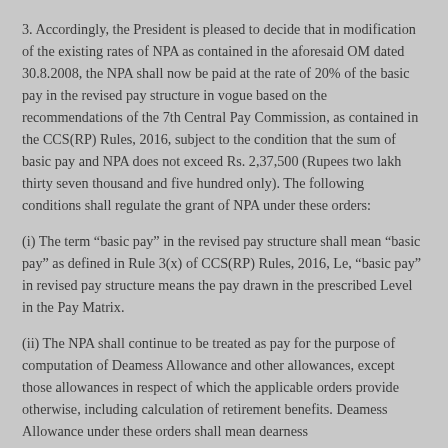3. Accordingly, the President is pleased to decide that in modification of the existing rates of NPA as contained in the aforesaid OM dated 30.8.2008, the NPA shall now be paid at the rate of 20% of the basic pay in the revised pay structure in vogue based on the recommendations of the 7th Central Pay Commission, as contained in the CCS(RP) Rules, 2016, subject to the condition that the sum of basic pay and NPA does not exceed Rs. 2,37,500 (Rupees two lakh thirty seven thousand and five hundred only). The following conditions shall regulate the grant of NPA under these orders:
(i) The term “basic pay” in the revised pay structure shall mean “basic pay” as defined in Rule 3(x) of CCS(RP) Rules, 2016, Le, “basic pay” in revised pay structure means the pay drawn in the prescribed Level in the Pay Matrix.
(ii) The NPA shall continue to be treated as pay for the purpose of computation of Deamess Allowance and other allowances, except those allowances in respect of which the applicable orders provide otherwise, including calculation of retirement benefits. Deamess Allowance under these orders shall mean dearness